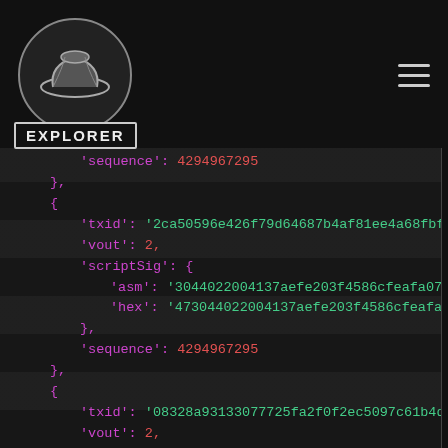EXPLORER
sequence: 4294967295
},
{
'txid': '2ca50596e426f79d64687b4af81ee4a68fbf5de69b...
'vout': 2,
'scriptSig': {
'asm': '3044022004137aefe203f4586cfeafa077ba40b0...
'hex': '473044022004137aefe203f4586cfeafa077ba40b...
},
'sequence': 4294967295
},
{
'txid': '08328a93133077725fa2f0f2ec5097c61b4dfc308f0...
'vout': 2,
'scriptSig': {
'asm': '304402206afaad0f71694fbc8e66c3cd6b16042...
'hex': '47304402206afaad0f71694fbc8e66c3cd6b1604...
},
'sequence': 4294967295
},
{